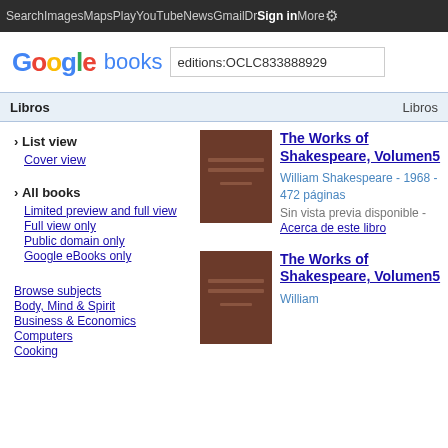Search  Images  Maps  Play  YouTube  News  Gmail  Dr  Sign in  More  ⚙
[Figure (screenshot): Google Books logo and search bar with query editions:OCLC833888929]
Libros    Libros
› List view
Cover view
› All books
Limited preview and full view
Full view only
Public domain only
Google eBooks only
Browse subjects
Body, Mind & Spirit
Business & Economics
Computers
Cooking
[Figure (illustration): Dark brown book cover for The Works of Shakespeare Volume 5]
The Works of Shakespeare, Volumen5
William Shakespeare - 1968 - 472 páginas
Sin vista previa disponible - Acerca de este libro
[Figure (illustration): Dark brown book cover for The Works of Shakespeare Volume 5 (second entry)]
The Works of Shakespeare, Volumen5
William